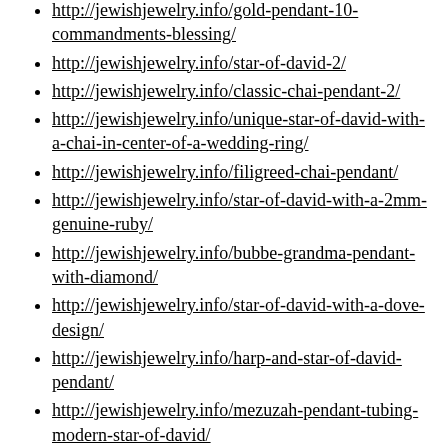http://jewishjewelry.info/gold-pendant-10-commandments-blessing/
http://jewishjewelry.info/star-of-david-2/
http://jewishjewelry.info/classic-chai-pendant-2/
http://jewishjewelry.info/unique-star-of-david-with-a-chai-in-center-of-a-wedding-ring/
http://jewishjewelry.info/filigreed-chai-pendant/
http://jewishjewelry.info/star-of-david-with-a-2mm-genuine-ruby/
http://jewishjewelry.info/bubbe-grandma-pendant-with-diamond/
http://jewishjewelry.info/star-of-david-with-a-dove-design/
http://jewishjewelry.info/harp-and-star-of-david-pendant/
http://jewishjewelry.info/mezuzah-pendant-tubing-modern-star-of-david/
http://jewishjewelry.info/mezuzah-pendant-